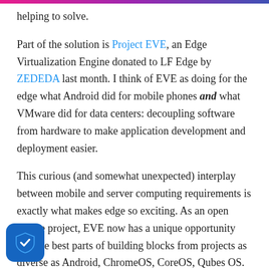helping to solve.
Part of the solution is Project EVE, an Edge Virtualization Engine donated to LF Edge by ZEDEDA last month. I think of EVE as doing for the edge what Android did for mobile phones and what VMware did for data centers: decoupling software from hardware to make application development and deployment easier.
This curious (and somewhat unexpected) interplay between mobile and server computing requirements is exactly what makes edge so exciting. As an open source project, EVE now has a unique opportunity to [build] the best parts of building blocks from projects as diverse as Android, ChromeOS, CoreOS, Qubes OS.